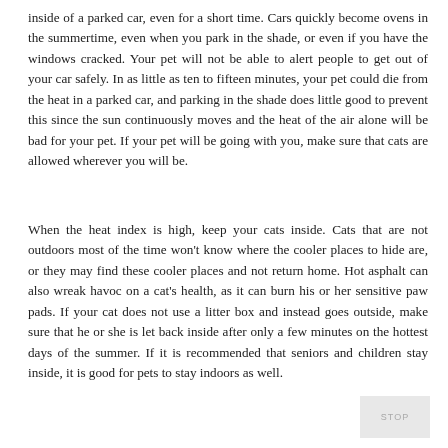inside of a parked car, even for a short time. Cars quickly become ovens in the summertime, even when you park in the shade, or even if you have the windows cracked. Your pet will not be able to alert people to get out of your car safely. In as little as ten to fifteen minutes, your pet could die from the heat in a parked car, and parking in the shade does little good to prevent this since the sun continuously moves and the heat of the air alone will be bad for your pet. If your pet will be going with you, make sure that cats are allowed wherever you will be.
When the heat index is high, keep your cats inside. Cats that are not outdoors most of the time won't know where the cooler places to hide are, or they may find these cooler places and not return home. Hot asphalt can also wreak havoc on a cat's health, as it can burn his or her sensitive paw pads. If your cat does not use a litter box and instead goes outside, make sure that he or she is let back inside after only a few minutes on the hottest days of the summer. If it is recommended that seniors and children stay inside, it is good for pets to stay indoors as well.